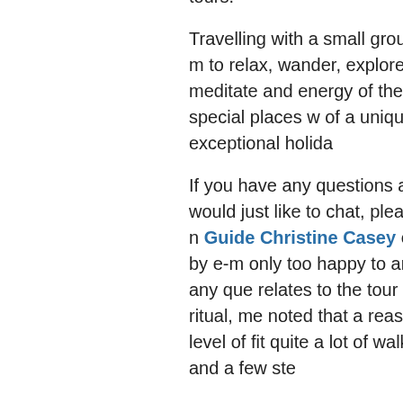tours. Travelling with a small group (12 m to relax, wander, explore, meditate and energy of the special places w of a unique and exceptional holida If you have any questions about a would just like to chat, please do n Guide Christine Casey either by e-m only too happy to answer any que relates to the tour itself, ritual, me noted that a reasonable level of fit quite a lot of walking and a few ste